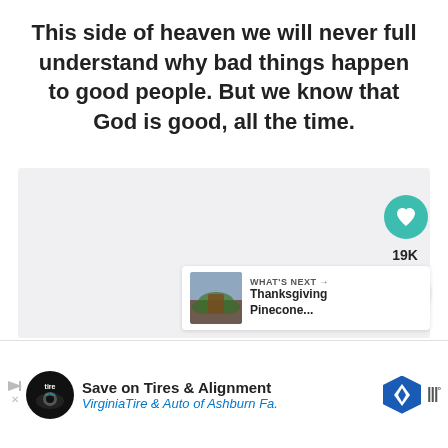This side of heaven we will never full understand why bad things happen to good people. But we know that God is good, all the time.
[Figure (screenshot): Content area with social interaction buttons: heart/like button (teal circle, 19K likes), share button (white circle with share icon), and a 'What's Next' panel showing a thumbnail image and text 'Thanksgiving Pinecone...']
[Figure (screenshot): Advertisement bar at bottom: skip arrows, tire auto logo, text 'Save on Tires & Alignment', 'VirginiaTire & Auto of Ashburn Fa.', blue navigation icon, and brand logo with degree symbol]